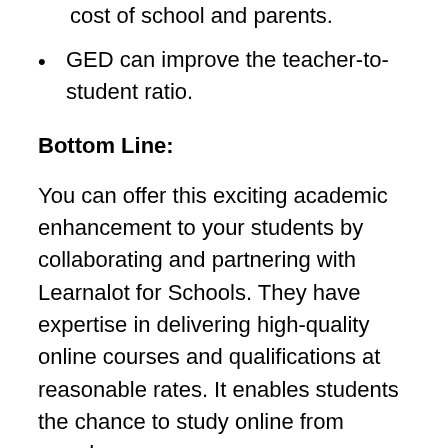cost of school and parents.
GED can improve the teacher-to-student ratio.
Bottom Line:
You can offer this exciting academic enhancement to your students by collaborating and partnering with Learnalot for Schools. They have expertise in delivering high-quality online courses and qualifications at reasonable rates. It enables students the chance to study online from anywhere.
This method has a significant advantage since the student doesn’t have to leave school or drop out.